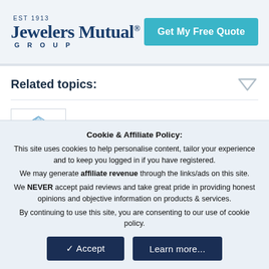[Figure (logo): Jewelers Mutual Group logo with EST 1913 tagline and a teal 'Get My Free Quote' button]
Related topics:
[Figure (illustration): Blue diamond illustration inside a white bordered box]
DIAMOND CUT: The PriceScope Ideal
Education
Cookie & Affiliate Policy: This site uses cookies to help personalise content, tailor your experience and to keep you logged in if you have registered. We may generate affiliate revenue through the links/ads on this site. We NEVER accept paid reviews and take great pride in providing honest opinions and objective information on products & services. By continuing to use this site, you are consenting to our use of cookie policy.